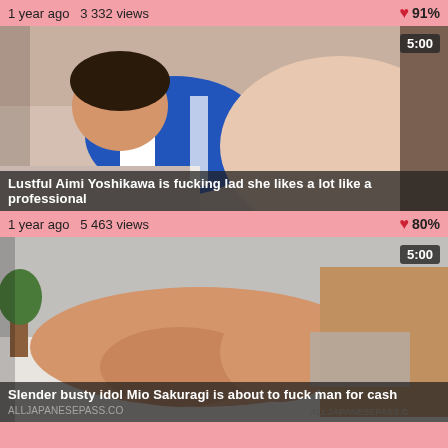1 year ago  3 332 views  ❤ 91%
[Figure (photo): Video thumbnail: pregnant woman in blue outfit lying on couch]
Lustful Aimi Yoshikawa is fucking lad she likes a lot like a professional
1 year ago  5 463 views  ❤ 80%
[Figure (photo): Video thumbnail: woman with man intimate scene]
Slender busty idol Mio Sakuragi is about to fuck man for cash